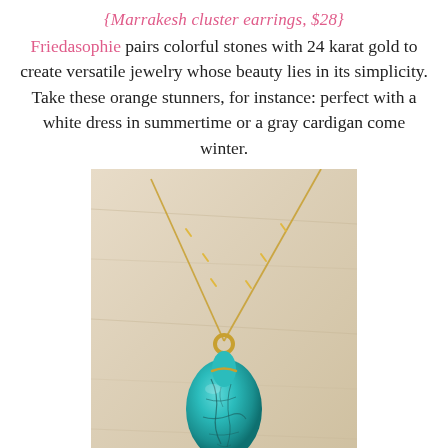{Marrakesh cluster earrings, $28}
Friedasophie pairs colorful stones with 24 karat gold to create versatile jewelry whose beauty lies in its simplicity. Take these orange stunners, for instance: perfect with a white dress in summertime or a gray cardigan come winter.
[Figure (photo): Close-up photo of a turquoise teardrop stone pendant on a delicate gold chain, against a light beige/cream background. The turquoise stone has dark crackle veining and hangs from a small gold loop connector.]